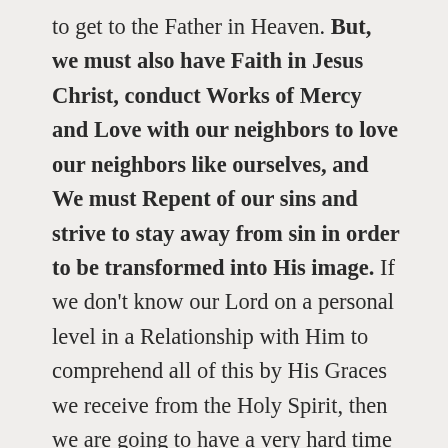to get to the Father in Heaven. But, we must also have Faith in Jesus Christ, conduct Works of Mercy and Love with our neighbors to love our neighbors like ourselves, and We must Repent of our sins and strive to stay away from sin in order to be transformed into His image. If we don't know our Lord on a personal level in a Relationship with Him to comprehend all of this by His Graces we receive from the Holy Spirit, then we are going to have a very hard time standing before Him in judgement because we did not fulfill "ALL" that He commanded of us. If we would all just read